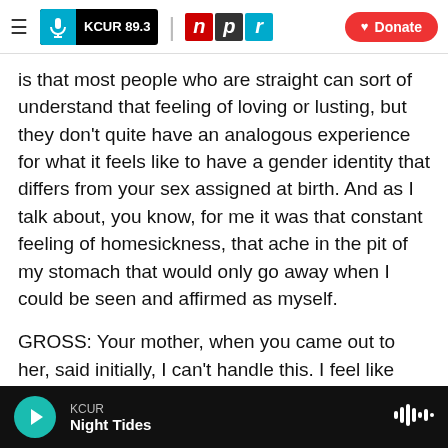KCUR 89.3 | npr | Donate
is that most people who are straight can sort of understand that feeling of loving or lusting, but they don't quite have an analogous experience for what it feels like to have a gender identity that differs from your sex assigned at birth. And as I talk about, you know, for me it was that constant feeling of homesickness, that ache in the pit of my stomach that would only go away when I could be seen and affirmed as myself.
GROSS: Your mother, when you came out to her, said initially, I can't handle this. I feel like you're dying. How did you respond to that?
KCUR | Night Tides